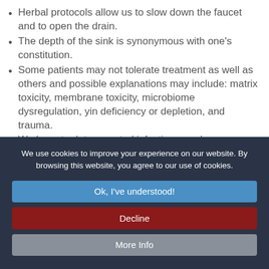Herbal protocols allow us to slow down the faucet and to open the drain.
The depth of the sink is synonymous with one's constitution.
Some patients may not tolerate treatment as well as others and possible explanations may include: matrix toxicity, membrane toxicity, microbiome dysregulation, yin deficiency or depletion, and trauma.
We have to detox, control infections, and restore/repair membranes.
In yin-deficient patients, they may need to rebuild before doing anything. This may include a focus on nutrients and ...
We use cookies to improve your experience on our website. By browsing this website, you agree to our use of cookies.
Ok, I've understood!
Decline
More Info